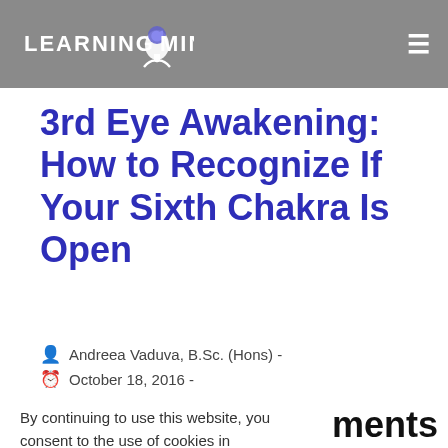LEARNING MIND
3rd Eye Awakening: How to Recognize If Your Sixth Chakra Is Open
Andreea Vaduva, B.Sc. (Hons) -
October 18, 2016 -
By continuing to use this website, you consent to the use of cookies in accordance with our Cookie Policy.
ACCEPT